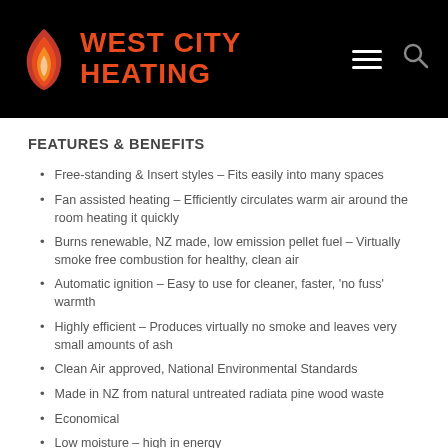[Figure (logo): West City Heating logo with flame icon on black header background]
FEATURES & BENEFITS
Free-standing & Insert styles – Fits easily into many spaces
Fan assisted heating – Efficiently circulates warm air around the room heating it quickly
Burns renewable, NZ made, low emission pellet fuel – Virtually smoke free combustion for healthy, clean air
Automatic ignition – Easy to use for cleaner, faster, 'no fuss' warmth
Highly efficient – Produces virtually no smoke and leaves very small amounts of ash
Clean Air approved, National Environmental Standards
Made in NZ from natural untreated radiata pine wood waste
Economical
Low moisture – high in energy
Clean and easy to store